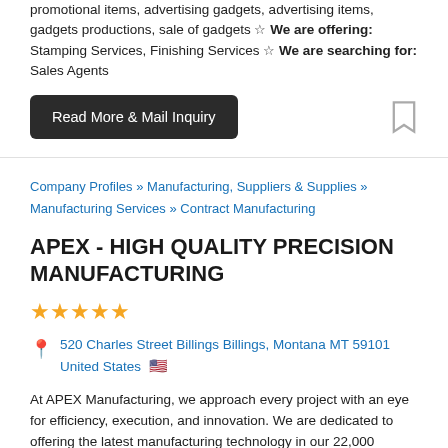promotional items, advertising gadgets, advertising items, gadgets productions, sale of gadgets ☆ We are offering: Stamping Services, Finishing Services ☆ We are searching for: Sales Agents
[Figure (other): Dark rounded button labeled 'Read More & Mail Inquiry' and a bookmark icon to the right]
Company Profiles » Manufacturing, Suppliers & Supplies » Manufacturing Services » Contract Manufacturing
APEX - HIGH QUALITY PRECISION MANUFACTURING
[Figure (other): Five gold star rating icons]
520 Charles Street Billings Billings, Montana MT 59101 United States 🇺🇸
At APEX Manufacturing, we approach every project with an eye for efficiency, execution, and innovation. We are dedicated to offering the latest manufacturing technology in our 22,000 square-foot shop